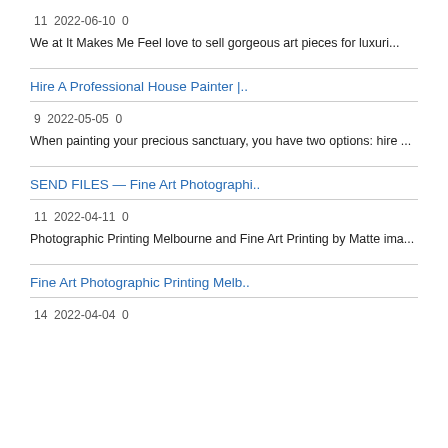11  2022-06-10  0
We at It Makes Me Feel love to sell gorgeous art pieces for luxuri...
Hire A Professional House Painter |..
9  2022-05-05  0
When painting your precious sanctuary, you have two options: hire ...
SEND FILES — Fine Art Photographi..
11  2022-04-11  0
Photographic Printing Melbourne and Fine Art Printing by Matte ima...
Fine Art Photographic Printing Melb..
14  2022-04-04  0